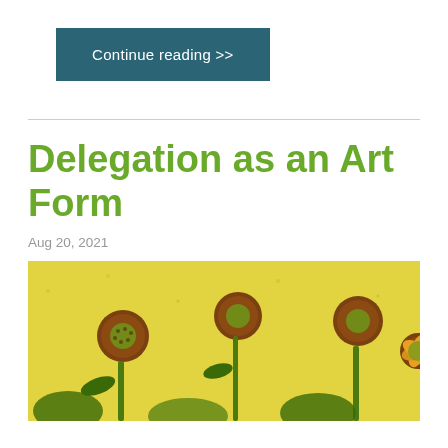Continue reading >>
Delegation as an Art Form
Aug 20, 2021
[Figure (photo): Painting of sunflowers (Van Gogh style) with yellow background, brown flower heads with green centers, on yellow-green background]